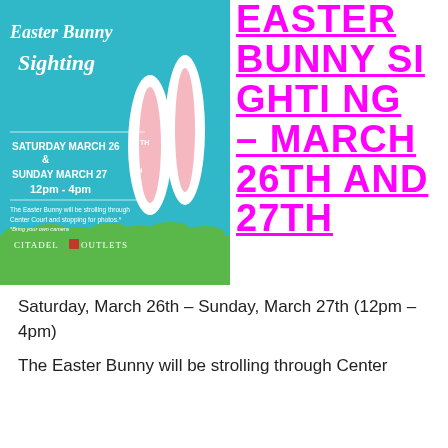[Figure (illustration): Easter Bunny Sighting promotional poster for Citadel Outlets. Teal/blue background with white cursive text 'Easter Bunny Sighting'. Bold white text 'SATURDAY MARCH 26TH & SUNDAY MARCH 27TH 12pm - 4pm'. Smaller text: 'The Easter Bunny will be strolling through Center Court and stopping for photos.* *Bring your own camera'. 'CITADEL OUTLETS' logo at bottom. Pink and white bunny ears on right side. Green grass at bottom.]
EASTER BUNNY SIGHTING – MARCH 26TH AND 27TH
Saturday, March 26th – Sunday, March 27th (12pm – 4pm)
The Easter Bunny will be strolling through Center